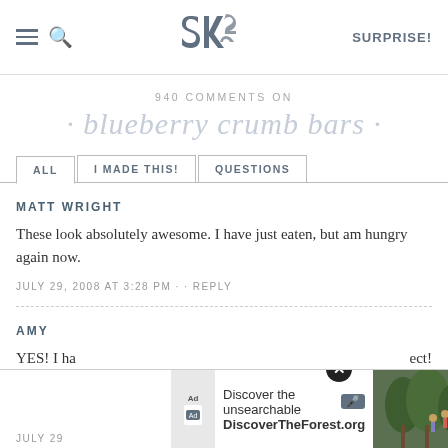SK — SURPRISE!
940 COMMENTS ON
· blueberry crumb bars ·
ALL | I MADE THIS! | QUESTIONS
MATT WRIGHT
These look absolutely awesome. I have just eaten, but am hungry again now.
JULY 29, 2008 AT 3:28 PM · · REPLY
AMY
YES! I ha…ect!
JULY 29
[Figure (screenshot): Ad overlay: Discover the unsearchable / DiscoverTheForest.org with forest photo and close button]